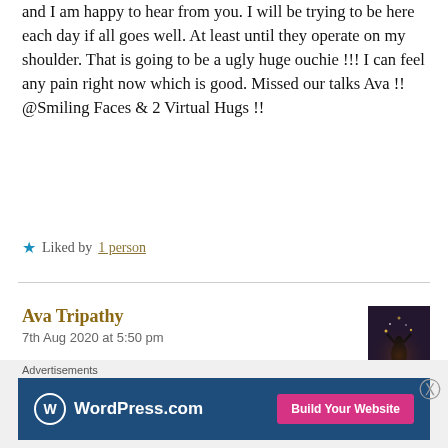and I am happy to hear from you. I will be trying to be here each day if all goes well. At least until they operate on my shoulder. That is going to be a ugly huge ouchie !!! I can feel any pain right now which is good. Missed our talks Ava !! @Smiling Faces & 2 Virtual Hugs !!
★ Liked by 1 person
Ava Tripathy
7th Aug 2020 at 5:50 pm
[Figure (photo): Small avatar photo showing a silhouette figure against a dark background with light]
Hey James!!!
How are you? Hope you are getting better day by
Advertisements
[Figure (infographic): WordPress.com advertisement banner with blue background showing WordPress logo and 'Build Your Website' pink button]